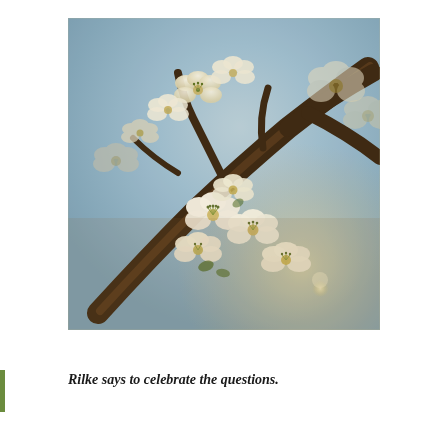[Figure (photo): Close-up photograph of white cherry blossom flowers on a branch against a soft blue-sky background, with warm bokeh lighting in the lower right. The photo has a slightly vintage, warm-toned color treatment.]
Rilke says to celebrate the questions.